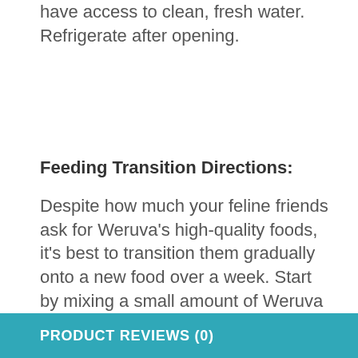have access to clean, fresh water. Refrigerate after opening.
Feeding Transition Directions:
Despite how much your feline friends ask for Weruva's high-quality foods, it's best to transition them gradually onto a new food over a week. Start by mixing a small amount of Weruva in with their old food and slowly increase the amount of Weruva fed over 7 days. This will help your kitty to adjust to their new Weruva foods – Because WeLuvya
PRODUCT REVIEWS (0)